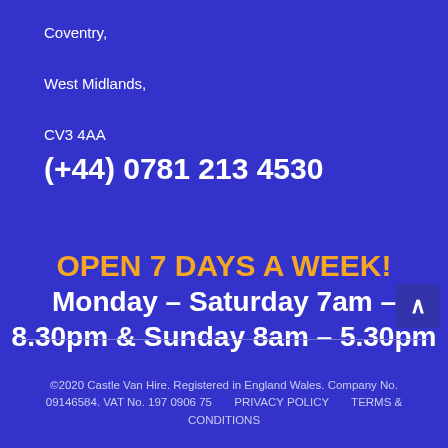Coventry,
West Midlands,
CV3 4AA
(+44) 0781 213 4530
OPEN 7 DAYS A WEEK!
Monday – Saturday 7am – 8.30pm & Sunday 8am – 5.30pm
©2020 Castle Van Hire. Registered in England Wales. Company No. 09146584. VAT No. 197 0906 75        PRIVACY POLICY        TERMS & CONDITIONS